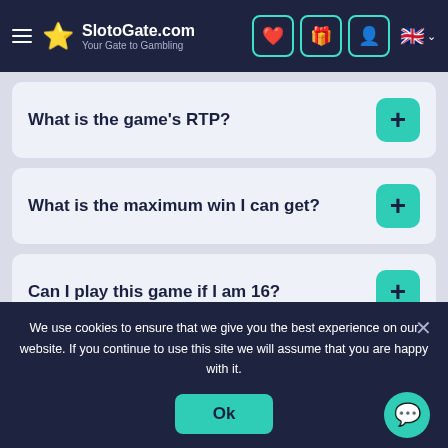SlotoGate.com — Your Gate to Gambling
What is the game's RTP?
What is the maximum win I can get?
Can I play this game if I am 16?
What is the wild symbol in the First
We use cookies to ensure that we give you the best experience on our website. If you continue to use this site we will assume that you are happy with it.